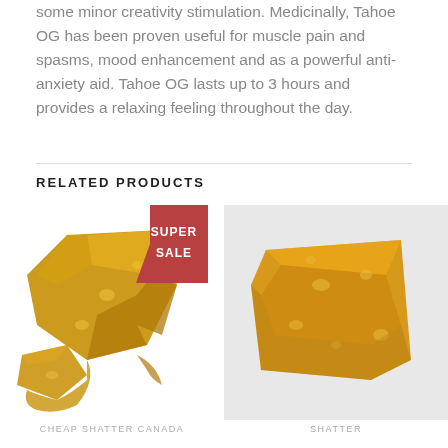some minor creativity stimulation. Medicinally, Tahoe OG has been proven useful for muscle pain and spasms, mood enhancement and as a powerful anti-anxiety aid. Tahoe OG lasts up to 3 hours and provides a relaxing feeling throughout the day.
RELATED PRODUCTS
[Figure (photo): Left product: chunks of golden amber shatter cannabis concentrate on white background, with a red 'SUPER SALE' banner badge in top right corner]
CHEAP SHATTER CANADA
[Figure (photo): Right product: flat square slab of orange/amber shatter cannabis concentrate on light grey background]
SHATTER